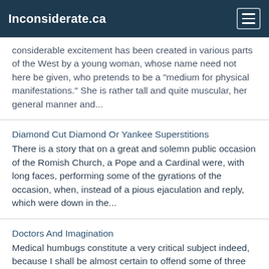Inconsiderate.ca
considerable excitement has been created in various parts of the West by a young woman, whose name need not here be given, who pretends to be a "medium for physical manifestations." She is rather tall and quite muscular, her general manner and...
Diamond Cut Diamond Or Yankee Superstitions
There is a story that on a great and solemn public occasion of the Romish Church, a Pope and a Cardinal were, with long faces, performing some of the gyrations of the occasion, when, instead of a pious ejaculation and reply, which were down in the...
Doctors And Imagination
Medical humbugs constitute a very critical subject indeed, because I shall be almost certain to offend some of three parties concerned, namely; physicians, quacks, and patients. But it will never do to neglect so